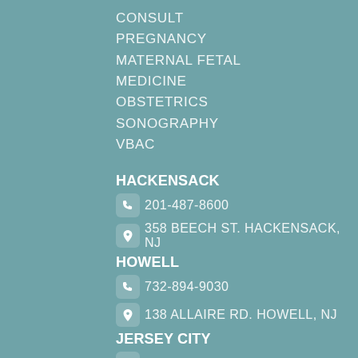CONSULT
PREGNANCY
MATERNAL FETAL
MEDICINE
OBSTETRICS
SONOGRAPHY
VBAC
HACKENSACK
201-487-8600
358 BEECH ST. HACKENSACK, NJ
HOWELL
732-894-9030
138 ALLAIRE RD. HOWELL, NJ
JERSEY CITY
201-691-8664
21 MCWILLIAMS PL. JERSEY CITY, NJ